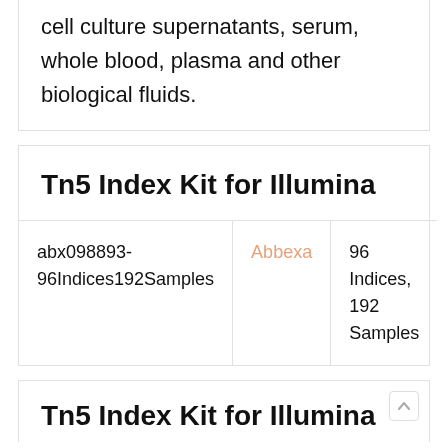cell culture supernatants, serum, whole blood, plasma and other biological fluids.
Tn5 Index Kit for Illumina
|  |  |  |
| --- | --- | --- |
| abx098893-96Indices192Samples | Abbexa | 96 Indices, 192 Samples |
Tn5 Index Kit for Illumina